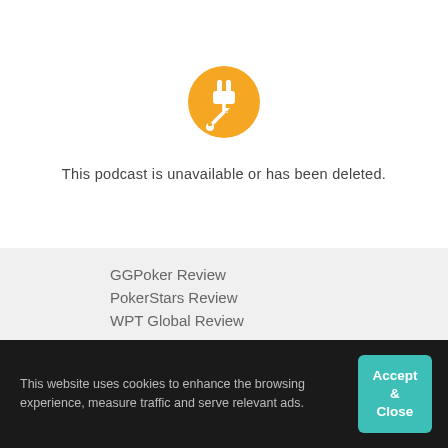[Figure (illustration): Orange circle icon with a disconnected plug/power connector symbol in white]
This podcast is unavailable or has been deleted.
GGPoker Review
PokerStars Review
WPT Global Review
US online casinos
BetMGM Casino US
This website uses cookies to enhance the browsing experience, measure traffic and serve relevant ads.